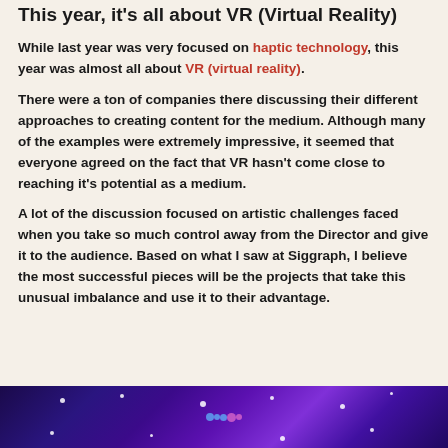This year, it's all about VR (Virtual Reality)
While last year was very focused on haptic technology, this year was almost all about VR (virtual reality).
There were a ton of companies there discussing their different approaches to creating content for the medium. Although many of the examples were extremely impressive, it seemed that everyone agreed on the fact that VR hasn't come close to reaching it's potential as a medium.
A lot of the discussion focused on artistic challenges faced when you take so much control away from the Director and give it to the audience. Based on what I saw at Siggraph, I believe the most successful pieces will be the projects that take this unusual imbalance and use it to their advantage.
[Figure (photo): A blue and purple lit stage or VR environment with glowing lights and abstract visuals in the background.]